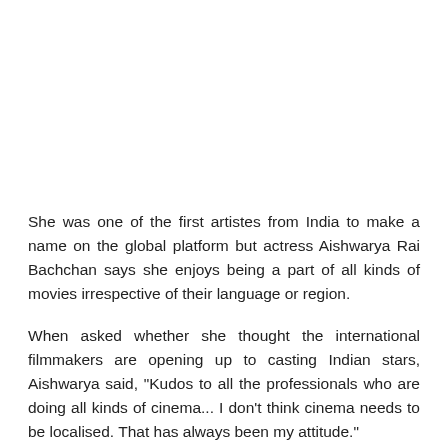She was one of the first artistes from India to make a name on the global platform but actress Aishwarya Rai Bachchan says she enjoys being a part of all kinds of movies irrespective of their language or region.
When asked whether she thought the international filmmakers are opening up to casting Indian stars, Aishwarya said, "Kudos to all the professionals who are doing all kinds of cinema... I don't think cinema needs to be localised. That has always been my attitude."